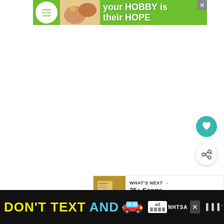[Figure (screenshot): Screenshot of a webpage showing two advertisement banners and UI elements. Top green banner: 'cookies for kids cancer' logo with 'your HOBBY is their HOPE'. Bottom black banner: 'DON'T TEXT AND [car emoji] ad NHTSA'. Floating action buttons (heart and share) on right side. 'WHAT'S NEXT' panel showing '25+ Songs about Ohio t...']
WHAT'S NEXT → 25+ Songs about Ohio t...